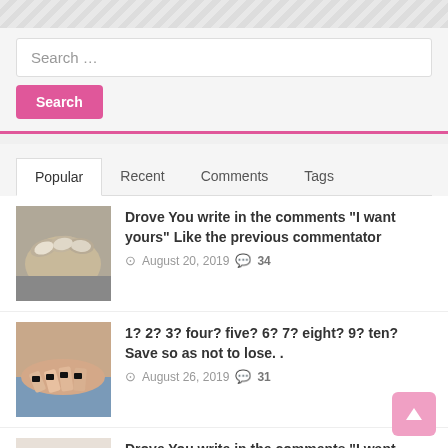[Figure (screenshot): Top diagonal striped decorative banner]
Search ...
Search
Popular   Recent   Comments   Tags
Drove You write in the comments "I want yours" Like the previous commentator
August 20, 2019  34
1? 2? 3? four? five? 6? 7? eight? 9? ten? Save so as not to lose..
August 26, 2019  31
Drove You write in the comments "I want yours" Like the previous commentator
August 27, 2019  31